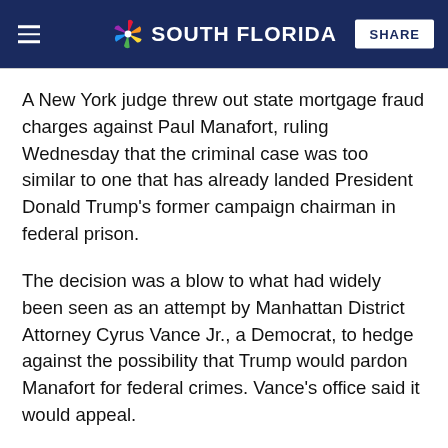NBC 6 SOUTH FLORIDA
A New York judge threw out state mortgage fraud charges against Paul Manafort, ruling Wednesday that the criminal case was too similar to one that has already landed President Donald Trump's former campaign chairman in federal prison.
The decision was a blow to what had widely been seen as an attempt by Manhattan District Attorney Cyrus Vance Jr., a Democrat, to hedge against the possibility that Trump would pardon Manafort for federal crimes. Vance's office said it would appeal.
Manafort, 70, was convicted last year in two federal cases stemming from his business dealings and is serving a 7½-